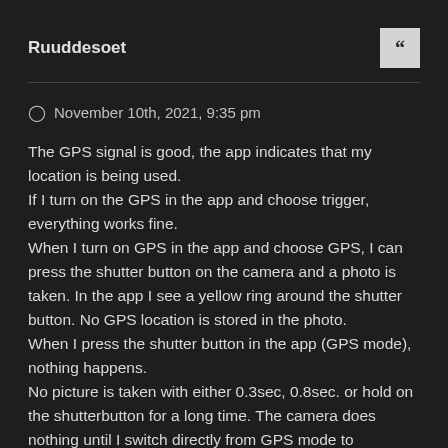Ruuddesoet
November 10th, 2021, 9:35 pm
The GPS signal is good, the app indicates that my location is being used.
If I turn on the GPS in the app and choose trigger, everything works fine.
When I turn on GPS in the app and choose GPS, I can press the shutter button on the camera and a photo is taken. In the app I see a yellow ring around the shutter button. No GPS location is stored in the photo.
When I press the shutter button in the app (GPS mode), nothing happens.
No picture is taken with either 0.3sec, 0.8sec. or hold on the shutterbutton for a long time. The camera does nothing until I switch directly from GPS mode to